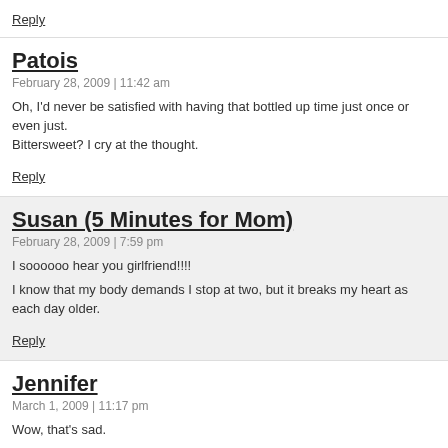Reply
Patois
February 28, 2009 | 11:42 am
Oh, I'd never be satisfied with having that bottled up time just once or even just. Bittersweet? I cry at the thought.
Reply
Susan (5 Minutes for Mom)
February 28, 2009 | 7:59 pm
I soooooo hear you girlfriend!!!!
I know that my body demands I stop at two, but it breaks my heart as each day older.
Reply
Jennifer
March 1, 2009 | 11:17 pm
Wow, that's sad.
What you need are some nieces and nephews, close enough to make you reali to "get your fix," and then equally wonderful to re-enter the world of logic and ra
I've often had the same thought, though: "if only I could bottle it up for later." So too tired to really enjoy it all. I know one day I will long for all the craziness that right now, and I would appreciate it so much more, I'm sure. Knowing that does make me think harder and attempt to notice things that migh